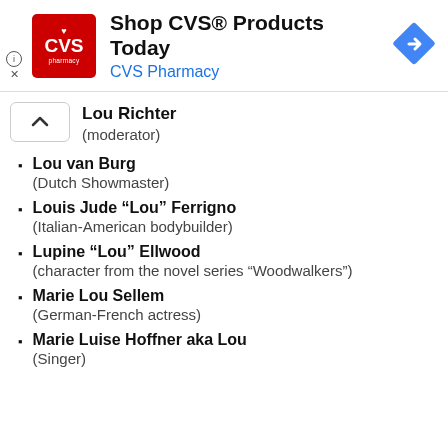[Figure (other): CVS Pharmacy advertisement banner with logo, text 'Shop CVS® Products Today / CVS Pharmacy', and navigation arrow icon]
Lou Richter
(moderator)
Lou van Burg
(Dutch Showmaster)
Louis Jude “Lou” Ferrigno
(Italian-American bodybuilder)
Lupine “Lou” Ellwood
(character from the novel series “Woodwalkers”)
Marie Lou Sellem
(German-French actress)
Marie Luise Hoffner aka Lou
(Singer)